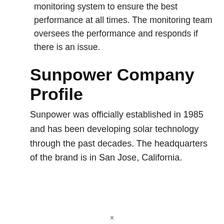monitoring system to ensure the best performance at all times. The monitoring team oversees the performance and responds if there is an issue.
Sunpower Company Profile
Sunpower was officially established in 1985 and has been developing solar technology through the past decades. The headquarters of the brand is in San Jose, California.
x